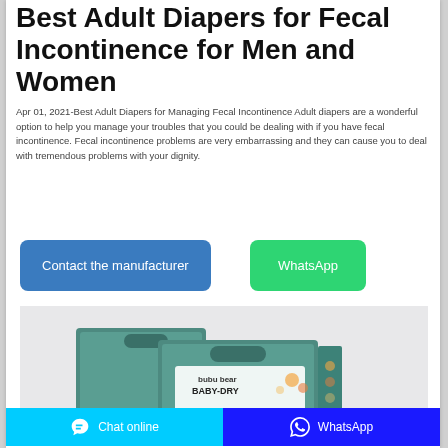Best Adult Diapers for Fecal Incontinence for Men and Women
Apr 01, 2021-Best Adult Diapers for Managing Fecal Incontinence Adult diapers are a wonderful option to help you manage your troubles that you could be dealing with if you have fecal incontinence. Fecal incontinence problems are very embarrassing and they can cause you to deal with tremendous problems with your dignity.
[Figure (other): Blue rounded button labeled 'Contact the manufacturer']
[Figure (other): Green rounded button labeled 'WhatsApp']
[Figure (photo): Product image showing bubu bear BABY-DRY diaper packaging boxes in teal/green color]
Chat online   WhatsApp